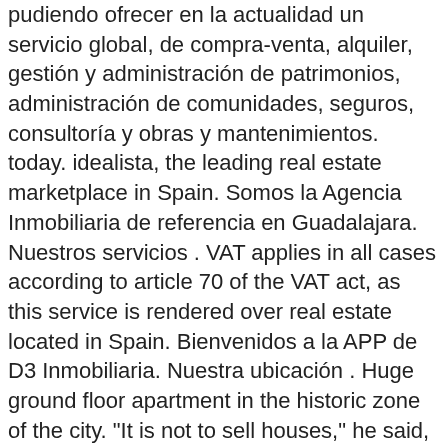pudiendo ofrecer en la actualidad un servicio global, de compra-venta, alquiler, gestión y administración de patrimonios, administración de comunidades, seguros, consultoría y obras y mantenimientos. today. idealista, the leading real estate marketplace in Spain. Somos la Agencia Inmobiliaria de referencia en Guadalajara. Nuestros servicios . VAT applies in all cases according to article 70 of the VAT act, as this service is rendered over real estate located in Spain. Bienvenidos a la APP de D3 Inmobiliaria. Nuestra ubicación . Huge ground floor apartment in the historic zone of the city. "It is not to sell houses," he said, "but to put those floors into operation for business creation and employment." Shopping Shopping. A lo largo de estos años, nuestra empresa ha ido ampliando sus servicios, pudiendo ofrecer en la actualidad un servicio global, de compra-venta, alquiler, gestión y administración de patrimonios, administración de comunidades, seguros, consultoría y obras y mantenimientos. WELCOME TO RENT TO BUY SPAIN. Escríbenos en https://ayuda.fotocasa.es/ Marbella is fast becoming a centre